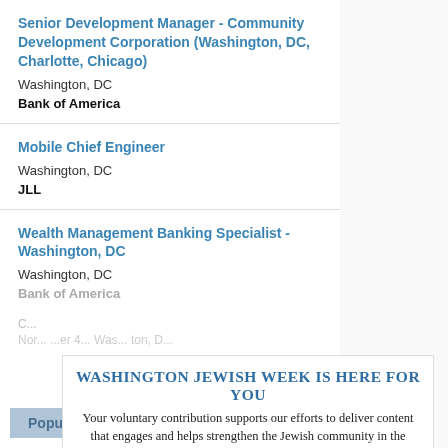Senior Development Manager - Community Development Corporation (Washington, DC, Charlotte, Chicago)
Washington, DC
Bank of America
Mobile Chief Engineer
Washington, DC
JLL
Wealth Management Banking Specialist - Washington, DC
Washington, DC
Bank of America
WASHINGTON JEWISH WEEK IS HERE FOR YOU
Your voluntary contribution supports our efforts to deliver content that engages and helps strengthen the Jewish community in the DMV.
CONTRIBUTE
Popular Posts